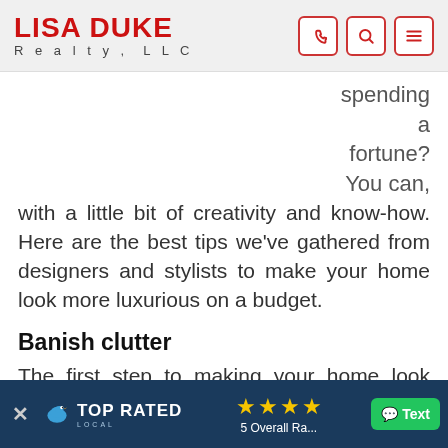LISA DUKE Realty, LLC
spending a fortune? You can, with a little bit of creativity and know-how. Here are the best tips we've gathered from designers and stylists to make your home look more luxurious on a budget.
Banish clutter
The first step to making your home look more luxurious won't cost you a dime. In fact, you might even challenge. By drawing atte...
[Figure (screenshot): Top Rated Local banner with close button, bird logo, TOP RATED LOCAL text, 4 gold stars, 5 Overall Ra... text, and green Text button]